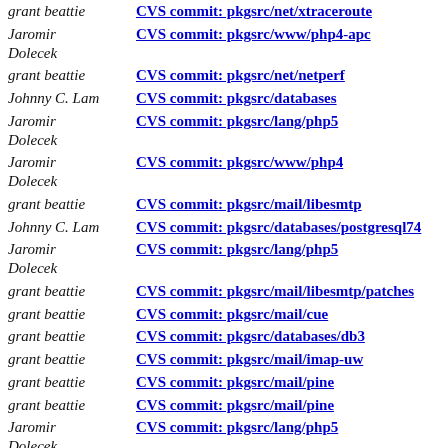grant beattie | CVS commit: pkgsrc/net/xtraceroute
Jaromir Dolecek | CVS commit: pkgsrc/www/php4-apc
grant beattie | CVS commit: pkgsrc/net/netperf
Johnny C. Lam | CVS commit: pkgsrc/databases
Jaromir Dolecek | CVS commit: pkgsrc/lang/php5
Jaromir Dolecek | CVS commit: pkgsrc/www/php4
grant beattie | CVS commit: pkgsrc/mail/libesmtp
Johnny C. Lam | CVS commit: pkgsrc/databases/postgresql74
Jaromir Dolecek | CVS commit: pkgsrc/lang/php5
grant beattie | CVS commit: pkgsrc/mail/libesmtp/patches
grant beattie | CVS commit: pkgsrc/mail/cue
grant beattie | CVS commit: pkgsrc/databases/db3
grant beattie | CVS commit: pkgsrc/mail/imap-uw
grant beattie | CVS commit: pkgsrc/mail/pine
grant beattie | CVS commit: pkgsrc/mail/pine
Jaromir Dolecek | CVS commit: pkgsrc/lang/php5
grant beattie | CVS commit: pkgsrc/mail/mutt